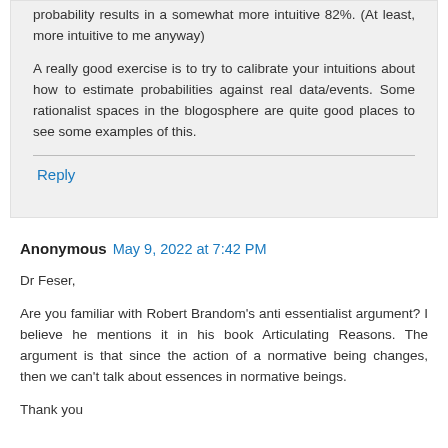82%. (At least, more intuitive to me anyway)

A really good exercise is to try to calibrate your intuitions about how to estimate probabilities against real data/events. Some rationalist spaces in the blogosphere are quite good places to see some examples of this.
Reply
Anonymous  May 9, 2022 at 7:42 PM
Dr Feser,

Are you familiar with Robert Brandom's anti essentialist argument? I believe he mentions it in his book Articulating Reasons. The argument is that since the action of a normative being changes, then we can't talk about essences in normative beings.

Thank you